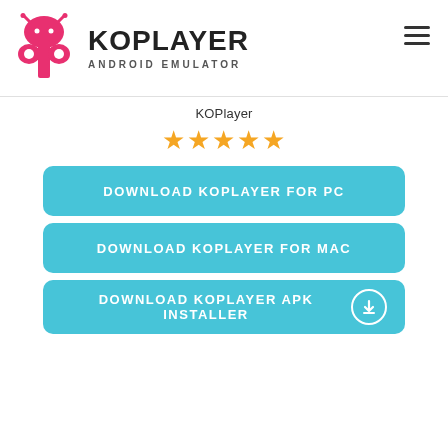[Figure (logo): KOPlayer Android Emulator logo with pink/red android robot icon and bold KOPLAYER text with ANDROID EMULATOR subtitle]
KOPlayer
[Figure (infographic): 5 orange/gold star rating icons]
DOWNLOAD KOPLAYER FOR PC
DOWNLOAD KOPLAYER FOR MAC
DOWNLOAD KOPLAYER APK INSTALLER